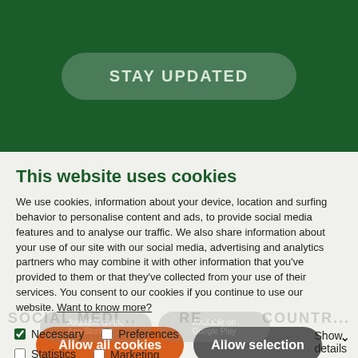STAY UPDATED
This website uses cookies
We use cookies, information about your device, location and surfing behavior to personalise content and ads, to provide social media features and to analyse our traffic. We also share information about your use of our site with our social media, advertising and analytics partners who may combine it with other information that you've provided to them or that they've collected from your use of their services. You consent to our cookies if you continue to use our website. Want to know more?
Allow all cookies
Allow selection
Necessary
Preferences
Statistics
Marketing
Show details